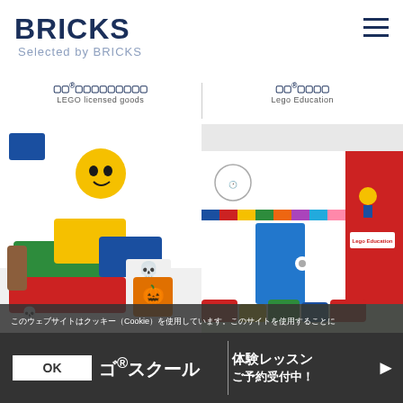BRICKS Selected by BRICKS
LEGO licensed goods
Lego Education
[Figure (photo): Left: LEGO toy bricks and minifigure head with Halloween decorations including a skeleton bucket and pumpkin lantern cube]
[Figure (photo): Right: LEGO Education classroom/showroom interior with colorful wall displays and seating]
このウェブサイトはCookieを使用しています。このサイトを使用することにより、プライバシーポリシーおよびCookieポリシーに同意したことになります。
OK　ゴ®スクール　体験レッスン ご予約受付中！